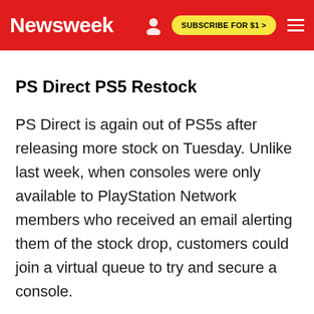Newsweek   SUBSCRIBE FOR $1 >
PS Direct PS5 Restock
PS Direct is again out of PS5s after releasing more stock on Tuesday. Unlike last week, when consoles were only available to PlayStation Network members who received an email alerting them of the stock drop, customers could join a virtual queue to try and secure a console.